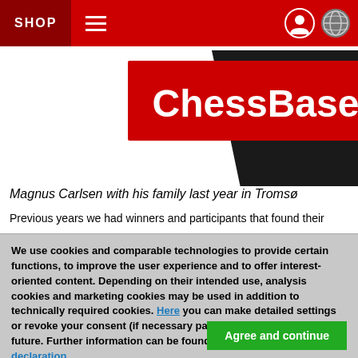SHOP
[Figure (logo): ChessBase logo on red background with black diagonal shape behind it]
Magnus Carlsen with his family last year in Tromsø
Previous years we had winners and participants that found their
We use cookies and comparable technologies to provide certain functions, to improve the user experience and to offer interest-oriented content. Depending on their intended use, analysis cookies and marketing cookies may be used in addition to technically required cookies. Here you can make detailed settings or revoke your consent (if necessary partially) with effect for the future. Further information can be found in our data protection declaration.